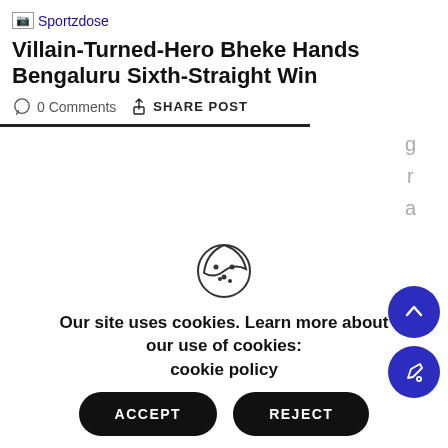Sportzdose
Villain-Turned-Hero Bheke Hands Bengaluru Sixth-Straight Win
0 Comments  SHARE POST
g r a s h e l
Our site uses cookies. Learn more about our use of cookies: cookie policy
ACCEPT
REJECT